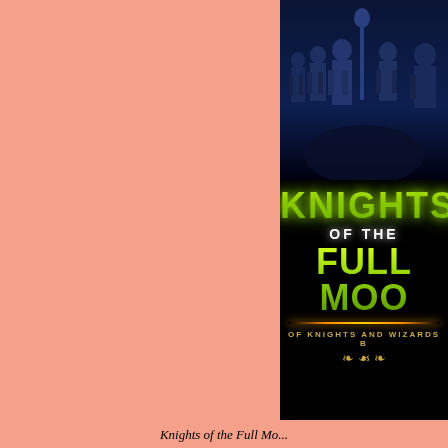[Figure (illustration): Book cover for 'Knights of the Full Moon' — dark fantasy book cover showing armored knight silhouettes in a blue-dark scene at top, with large glowing green stylized text reading 'KNIGHTS OF THE FULL MOO[N]' and subtitle 'OF KNIGHTS AND WIZARDS B[OOK]' with decorative ornament. The left portion of the page has a salmon/peach colored background.]
Knights of the Full Mo...